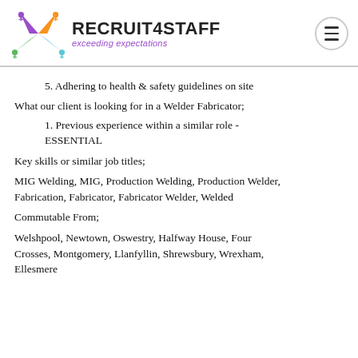[Figure (logo): Recruit4Staff logo with colorful star/arrows graphic and text 'RECRUIT4STAFF exceeding expectations']
5. Adhering to health & safety guidelines on site
What our client is looking for in a Welder Fabricator;
1. Previous experience within a similar role - ESSENTIAL
Key skills or similar job titles;
MIG Welding, MIG, Production Welding, Production Welder, Fabrication, Fabricator, Fabricator Welder, Welded
Commutable From;
Welshpool, Newtown, Oswestry, Halfway House, Four Crosses, Montgomery, Llanfyllin, Shrewsbury, Wrexham, Ellesmere